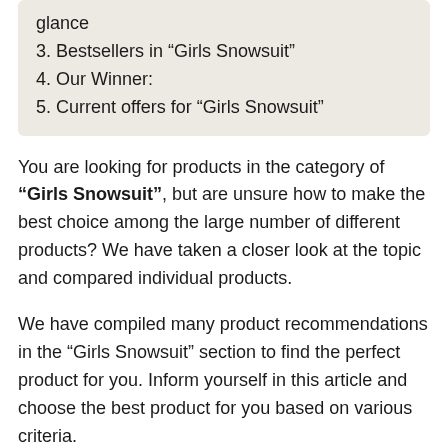glance
3. Bestsellers in “Girls Snowsuit”
4. Our Winner:
5. Current offers for “Girls Snowsuit”
You are looking for products in the category of “Girls Snowsuit”, but are unsure how to make the best choice among the large number of different products? We have taken a closer look at the topic and compared individual products.
We have compiled many product recommendations in the “Girls Snowsuit” section to find the perfect product for you. Inform yourself in this article and choose the best product for you based on various criteria.